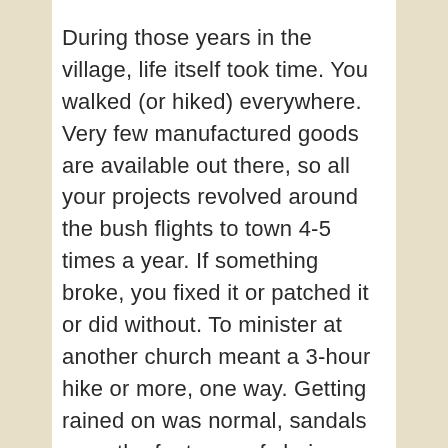During those years in the village, life itself took time. You walked (or hiked) everywhere. Very few manufactured goods are available out there, so all your projects revolved around the bush flights to town 4-5 times a year. If something broke, you fixed it or patched it or did without. To minister at another church meant a 3-hour hike or more, one way. Getting rained on was normal, sandals were the footwear of choice, and you got used to the ever-present moldy smell because your clothes didn't always dry in the solar dryer (aka clothesline). Crossing through creeks was often necessary—and to be honest, sometimes it was